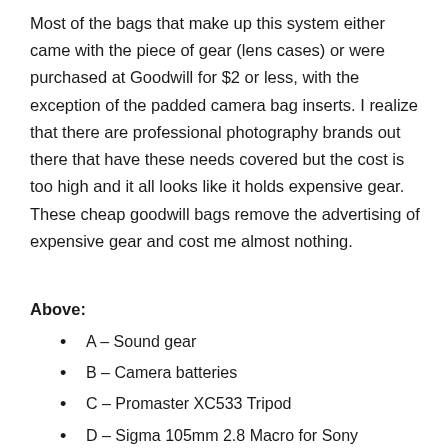Most of the bags that make up this system either came with the piece of gear (lens cases) or were purchased at Goodwill for $2 or less, with the exception of the padded camera bag inserts. I realize that there are professional photography brands out there that have these needs covered but the cost is too high and it all looks like it holds expensive gear. These cheap goodwill bags remove the advertising of expensive gear and cost me almost nothing.
Above:
A – Sound gear
B – Camera batteries
C – Promaster XC533 Tripod
D – Sigma 105mm 2.8 Macro for Sony
E – Sigma 70-200 2.8 for Sony